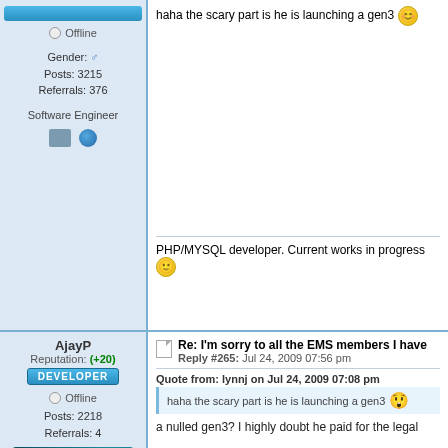Offline
Gender: ♂
Posts: 3215
Referrals: 376
Software Engineer
haha the scary part is he is launching a gen3
PHP/MYSQL developer. Current works in progress
AjayP
Reputation: (+20)
DEVELOPER
Offline
Posts: 2218
Referrals: 4
Re: I'm sorry to all the EMS members I have
Reply #265: Jul 24, 2009 07:56 pm
Quote from: lynnj on Jul 24, 2009 07:08 pm
haha the scary part is he is launching a gen3
a nulled gen3? I highly doubt he paid for the legal
FJWorld
Reputation: (+45)
This thread should be locked.
Reply #266: Jul 24, 2009 09:47 pm